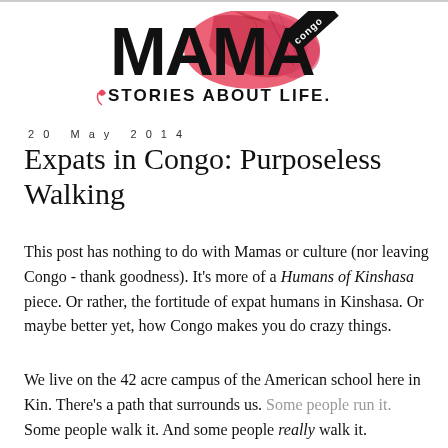[Figure (logo): MAMA Congo logo — large bold black 'MAMA' text with pink/red tropical foliage graphic behind it, 'congo' in white text on a diagonal black ribbon, subtitle 'STORIES ABOUT LIFE.' in black sans-serif below]
20 May 2014
Expats in Congo: Purposeless Walking
This post has nothing to do with Mamas or culture (nor leaving Congo - thank goodness). It’s more of a Humans of Kinshasa piece. Or rather, the fortitude of expat humans in Kinshasa. Or maybe better yet, how Congo makes you do crazy things.
We live on the 42 acre campus of the American school here in Kin. There’s a path that surrounds us. Some people run it. Some people walk it. And some people really walk it.